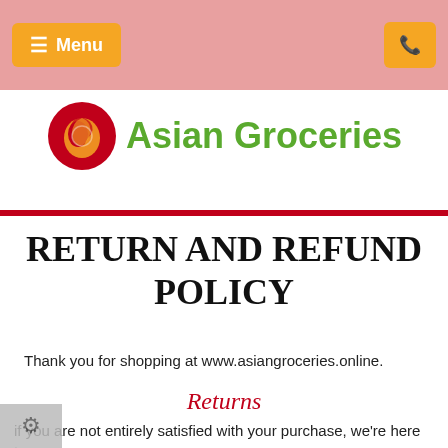Menu | [phone icon]
[Figure (logo): Asian Groceries logo with a red circular bird/pepper icon and green text 'Asian Groceries']
RETURN AND REFUND POLICY
Thank you for shopping at www.asiangroceries.online.
Returns
if you are not entirely satisfied with your purchase, we're here to help.